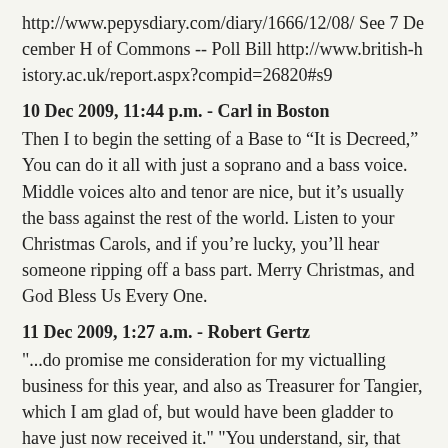http://www.pepysdiary.com/diary/1666/12/08/ See 7 December H of Commons -- Poll Bill http://www.british-history.ac.uk/report.aspx?compid=26820#s9
10 Dec 2009, 11:44 p.m. - Carl in Boston
Then I to begin the setting of a Base to “It is Decreed,” You can do it all with just a soprano and a bass voice. Middle voices alto and tenor are nice, but it’s usually the bass against the rest of the world. Listen to your Christmas Carols, and if you’re lucky, you’ll hear someone ripping off a bass part. Merry Christmas, and God Bless Us Every One.
11 Dec 2009, 1:27 a.m. - Robert Gertz
"...do promise me consideration for my victualling business for this year, and also as Treasurer for Tangier, which I am glad of, but would have been gladder to have just now received it." "You understand, sir, that this is merely a downpayment, as it were." "I know you'll give me millions later."